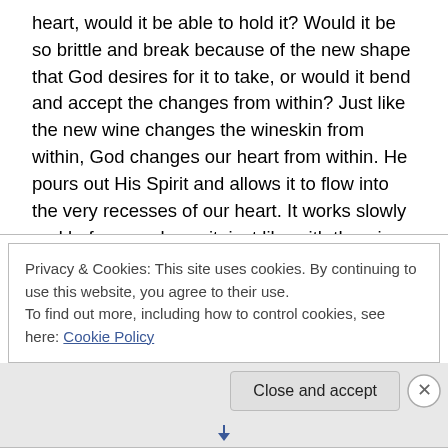heart, would it be able to hold it? Would it be so brittle and break because of the new shape that God desires for it to take, or would it bend and accept the changes from within? Just like the new wine changes the wineskin from within, God changes our heart from within. He pours out His Spirit and allows it to flow into the very recesses of our heart. It works slowly and before you know it, just like with the wine, God has soon changed the vessel that He has used to contain His Spirit.
There is no wrong time to open yourself up to the newness
Privacy & Cookies: This site uses cookies. By continuing to use this website, you agree to their use.
To find out more, including how to control cookies, see here: Cookie Policy
Close and accept